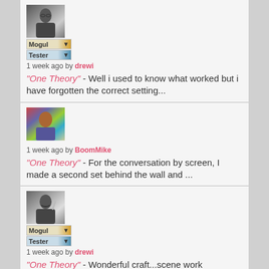[Figure (photo): Black and white avatar photo of a man in suit, with Mogul and Tester badges below]
1 week ago by drewi
"One Theory" - Well i used to know what worked but i have forgotten the correct setting...
[Figure (photo): Color avatar photo of a man, no badges]
1 week ago by BoomMike
"One Theory" - For the conversation by screen, I made a second set behind the wall and ...
[Figure (photo): Black and white avatar photo of a man with moustache raising finger, with Mogul and Tester badges below]
1 week ago by drewi
"One Theory" - Wonderful craft...scene work exemplary. What are you using as rep on